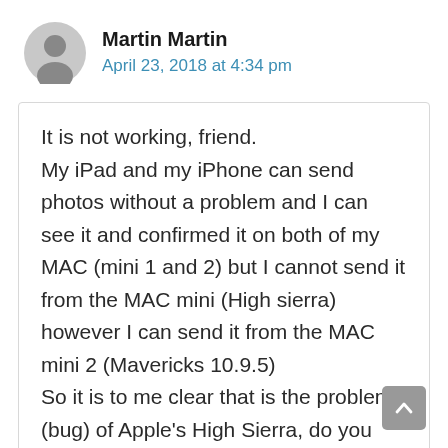[Figure (illustration): Circular gray generic user avatar icon]
Martin Martin
April 23, 2018 at 4:34 pm
It is not working, friend.
My iPad and my iPhone can send photos without a problem and I can see it and confirmed it on both of my MAC (mini 1 and 2) but I cannot send it from the MAC mini (High sierra)
however I can send it from the MAC mini 2 (Mavericks 10.9.5)
So it is to me clear that is the problem (bug) of Apple's High Sierra, do you